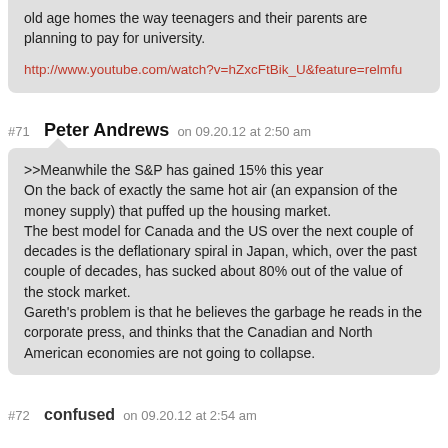old age homes the way teenagers and their parents are planning to pay for university.
http://www.youtube.com/watch?v=hZxcFtBik_U&feature=relmfu
#71 Peter Andrews on 09.20.12 at 2:50 am
>>Meanwhile the S&P has gained 15% this year

On the back of exactly the same hot air (an expansion of the money supply) that puffed up the housing market.

The best model for Canada and the US over the next couple of decades is the deflationary spiral in Japan, which, over the past couple of decades, has sucked about 80% out of the value of the stock market.

Gareth's problem is that he believes the garbage he reads in the corporate press, and thinks that the Canadian and North American economies are not going to collapse.
#72 confused on 09.20.12 at 2:54 am